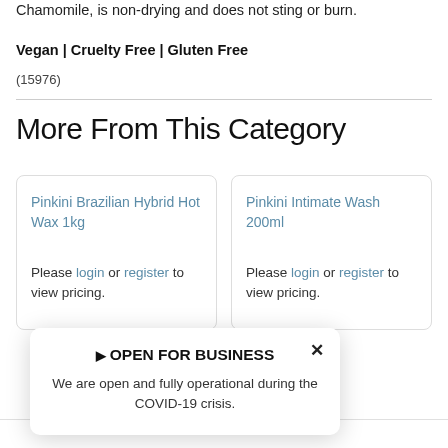Chamomile, is non-drying and does not sting or burn.
Vegan | Cruelty Free | Gluten Free
(15976)
More From This Category
Pinkini Brazilian Hybrid Hot Wax 1kg
Please login or register to view pricing.
Pinkini Intimate Wash 200ml
Please login or register to view pricing.
▶ OPEN FOR BUSINESS
We are open and fully operational during the COVID-19 crisis.